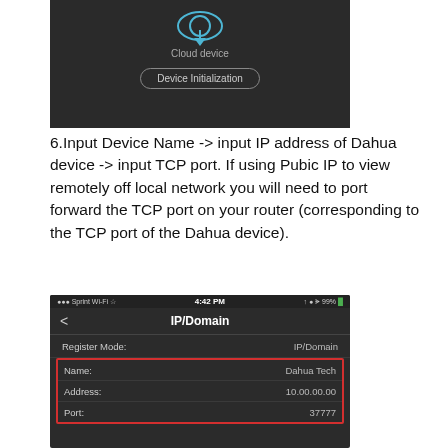[Figure (screenshot): Dark-themed mobile app screenshot showing Cloud device option and Device Initialization button]
6.Input Device Name -> input IP address of Dahua device -> input TCP port. If using Pubic IP to view remotely off local network you will need to port forward the TCP port on your router (corresponding to the TCP port of the Dahua device).
[Figure (screenshot): Mobile phone screenshot showing IP/Domain registration screen with fields: Register Mode: IP/Domain, Name: Dahua Tech, Address: 10.00.00.00, Port: 37777. Name, Address, and Port fields are highlighted with a red border.]